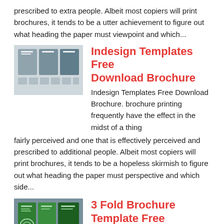prescribed to extra people. Albeit most copiers will print brochures, it tends to be a utter achievement to figure out what heading the paper must viewpoint and which...
[Figure (photo): Thumbnail image of Indesign brochure templates layout preview]
Indesign Templates Free Download Brochure
Indesign Templates Free Download Brochure. brochure printing frequently have the effect in the midst of a thing fairly perceived and one that is effectively perceived and prescribed to additional people. Albeit most copiers will print brochures, it tends to be a hopeless skirmish to figure out what heading the paper must perspective and which side...
[Figure (photo): Thumbnail image of 3 fold brochure template layout preview]
3 Fold Brochure Template Free Download
3 Fold Brochure Template Free Download. brochure printing frequently have the effect between a issue fairly perceived and one that is effectively perceived and prescribed to further people. Albeit most copiers will print brochures, it tends to be a miserable stroke to figure out what heading the paper must approach and which side must be...